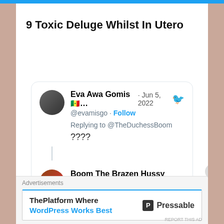9 Toxic Deluge Whilst In Utero
[Figure (screenshot): A Twitter/X screenshot showing two tweets. First tweet by Eva Awa Gomis (@evamisgo) dated Jun 5, 2022, replying to @TheDuchessBoom with the text '????'. Second tweet by Boom The Brazen Hussy (@TheDuchessBoom) with a video thumbnail showing 'Watch on Twitter' and a play button.]
Advertisements
ThePlatform Where WordPress Works Best  [Pressable logo] Pressable
REPORT THIS AD